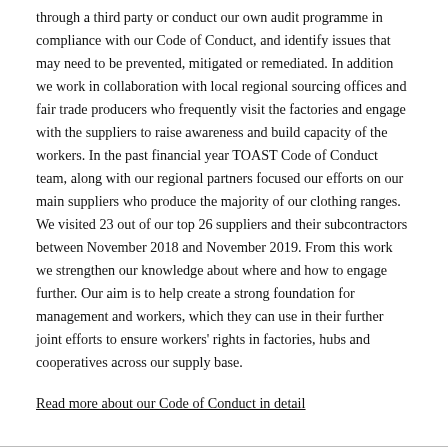through a third party or conduct our own audit programme in compliance with our Code of Conduct, and identify issues that may need to be prevented, mitigated or remediated. In addition we work in collaboration with local regional sourcing offices and fair trade producers who frequently visit the factories and engage with the suppliers to raise awareness and build capacity of the workers. In the past financial year TOAST Code of Conduct team, along with our regional partners focused our efforts on our main suppliers who produce the majority of our clothing ranges. We visited 23 out of our top 26 suppliers and their subcontractors between November 2018 and November 2019. From this work we strengthen our knowledge about where and how to engage further. Our aim is to help create a strong foundation for management and workers, which they can use in their further joint efforts to ensure workers' rights in factories, hubs and cooperatives across our supply base.
Read more about our Code of Conduct in detail